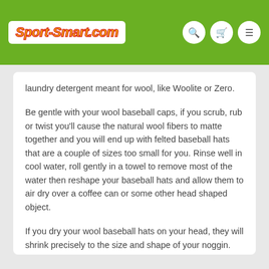Sport-Smart.com
laundry detergent meant for wool, like Woolite or Zero.
Be gentle with your wool baseball caps, if you scrub, rub or twist you'll cause the natural wool fibers to matte together and you will end up with felted baseball hats that are a couple of sizes too small for you. Rinse well in cool water, roll gently in a towel to remove most of the water then reshape your baseball hats and allow them to air dry over a coffee can or some other head shaped object.
If you dry your wool baseball hats on your head, they will shrink precisely to the size and shape of your noggin.